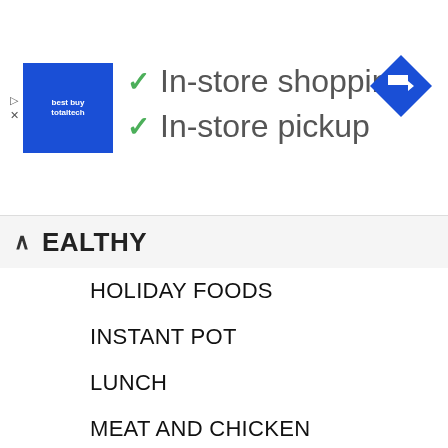[Figure (screenshot): Best Buy Totaltech advertisement banner showing blue logo square with white text, two checkmarks with 'In-store shopping' and 'In-store pickup' text, and a blue navigation arrow icon at top right]
EALTHY
HOLIDAY FOODS
INSTANT POT
LUNCH
MEAT AND CHICKEN
PASTA AND RICE
SALADS
SANDWICHES AND BURGERS
SAUCES AND CONDIMENTS